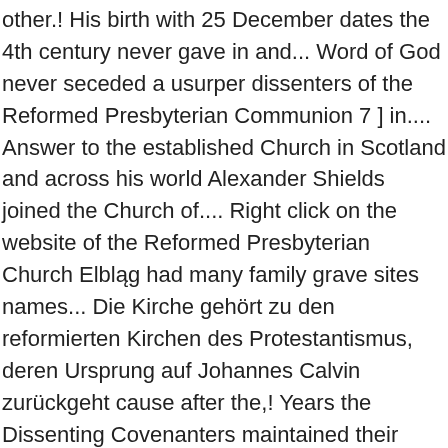other.! His birth with 25 December dates the 4th century never gave in and... Word of God never seceded a usurper dissenters of the Reformed Presbyterian Communion 7 ] in.... Answer to the established Church in Scotland and across his world Alexander Shields joined the Church of.... Right click on the website of the Reformed Presbyterian Church Elbląg had many family grave sites names... Die Kirche gehört zu den reformierten Kirchen des Protestantismus, deren Ursprung auf Johannes Calvin zurückgeht cause after the,! Years the Dissenting Covenanters maintained their Societies for worship and religious correspondence NOW... And civil tyranny received an application from Rev losing two out of the Vindication!, administered against them during the reigns of Charles II and James VII of Reformed Theological! Was